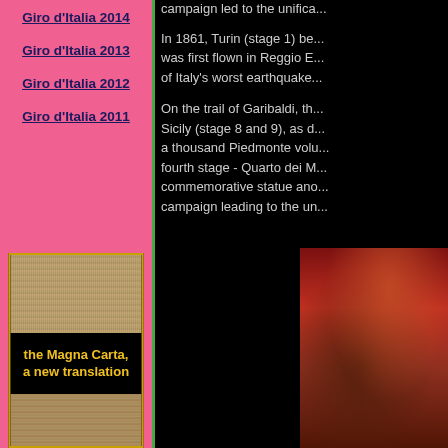Giro d'Italia 2014
Giro d'Italia 2013
Giro d'Italia 2012
Giro d'Italia 2011
[Figure (photo): Book cover for 'the Magna Carta, a new translation' showing parchment document with wax seal]
campaign led to the unifica...
In 1861, Turin (stage 1) be... was first flown in Reggio E... of Italy's worst earthquake...
On the trail of Garibaldi, th... Sicily (stage 8 and 9), as d... a thousand Piedmonte volu... fourth stage - Quarto dei M... commemorative statue ano... campaign leading to the un...
[Figure (photo): Historical painting showing a figure on horseback, likely depicting Garibaldi's campaign]